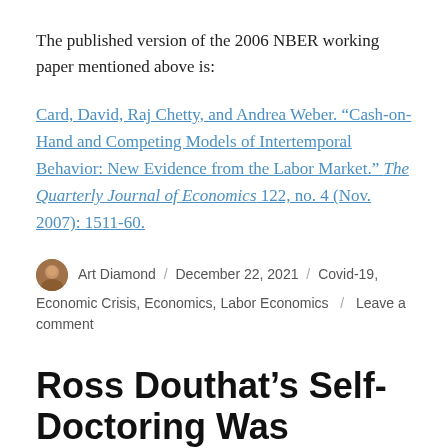The published version of the 2006 NBER working paper mentioned above is:
Card, David, Raj Chetty, and Andrea Weber. “Cash-on-Hand and Competing Models of Intertemporal Behavior: New Evidence from the Labor Market.” The Quarterly Journal of Economics 122, no. 4 (Nov. 2007): 1511-60.
Art Diamond / December 22, 2021 / Covid-19, Economic Crisis, Economics, Labor Economics / Leave a comment
Ross Douthat’s Self-Doctoring Was “Intensely